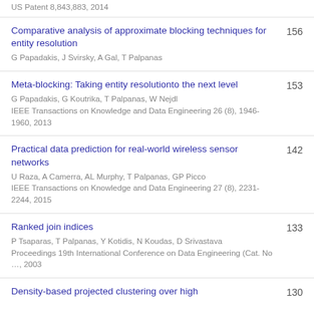US Patent 8,843,883, 2014
Comparative analysis of approximate blocking techniques for entity resolution
G Papadakis, J Svirsky, A Gal, T Palpanas
156
Meta-blocking: Taking entity resolutionto the next level
G Papadakis, G Koutrika, T Palpanas, W Nejdl
IEEE Transactions on Knowledge and Data Engineering 26 (8), 1946-1960, 2013
153
Practical data prediction for real-world wireless sensor networks
U Raza, A Camerra, AL Murphy, T Palpanas, GP Picco
IEEE Transactions on Knowledge and Data Engineering 27 (8), 2231-2244, 2015
142
Ranked join indices
P Tsaparas, T Palpanas, Y Kotidis, N Koudas, D Srivastava
Proceedings 19th International Conference on Data Engineering (Cat. No …, 2003
133
Density-based projected clustering over high
130